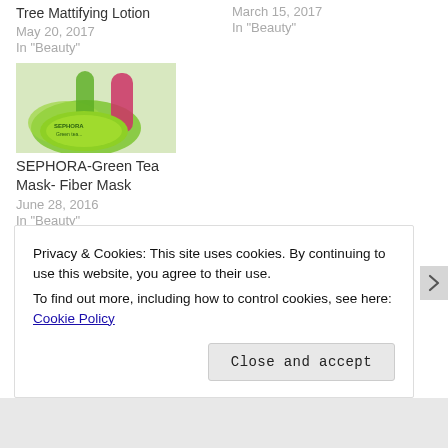Tree Mattifying Lotion
May 20, 2017
In "Beauty"
March 15, 2017
In "Beauty"
[Figure (photo): SEPHORA Green Tea Mask product photo showing green circular containers and a pink tube]
SEPHORA-Green Tea Mask- Fiber Mask
June 28, 2016
In "Beauty"
Privacy & Cookies: This site uses cookies. By continuing to use this website, you agree to their use.
To find out more, including how to control cookies, see here: Cookie Policy
Close and accept